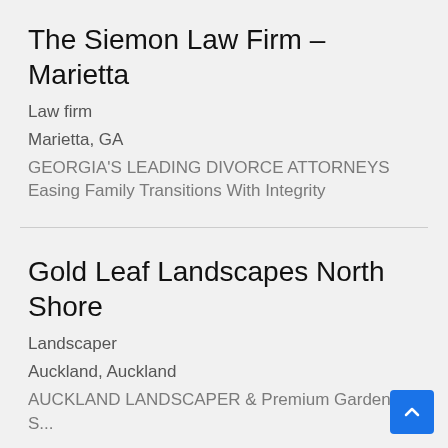The Siemon Law Firm – Marietta
Law firm
Marietta, GA
GEORGIA'S LEADING DIVORCE ATTORNEYS Easing Family Transitions With Integrity
Gold Leaf Landscapes North Shore
Landscaper
Auckland, Auckland
AUCKLAND LANDSCAPER & Premium Gardening Services